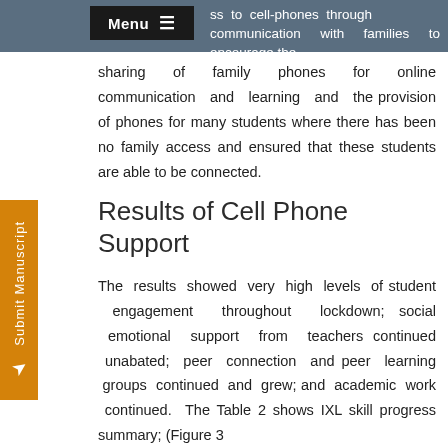Menu ≡  …ss to cell-phones through communication with families to encourage the
sharing of family phones for online communication and learning and the provision of phones for many students where there has been no family access and ensured that these students are able to be connected.
Results of Cell Phone Support
The results showed very high levels of student engagement throughout lockdown; social emotional support from teachers continued unabated; peer connection and peer learning groups continued and grew; and academic work continued. The Table 2 shows IXL skill progress summary; (Figure 3